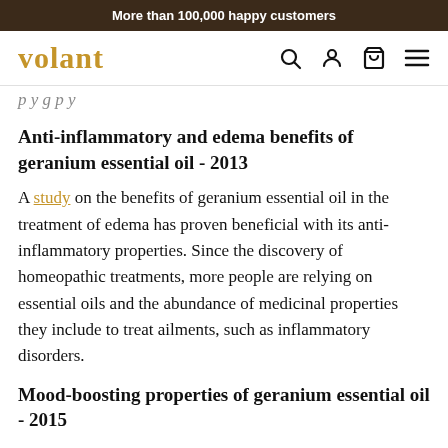More than 100,000 happy customers
[Figure (logo): Volant logo in gold/amber color with navigation icons (search, account, cart, menu)]
p y g p y
Anti-inflammatory and edema benefits of geranium essential oil - 2013
A study on the benefits of geranium essential oil in the treatment of edema has proven beneficial with its anti-inflammatory properties. Since the discovery of homeopathic treatments, more people are relying on essential oils and the abundance of medicinal properties they include to treat ailments, such as inflammatory disorders.
Mood-boosting properties of geranium essential oil - 2015